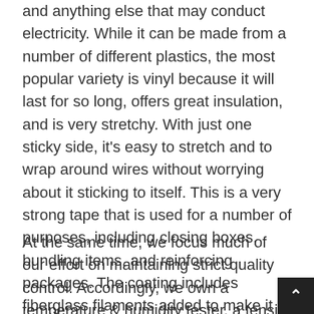Electrical tape - This tape is used to insulate electric wires and anything else that may conduct electricity. While it can be made from a number of different plastics, the most popular variety is vinyl because it will last for so long, offers great insulation, and is very stretchy. With just one sticky side, it's easy to stretch and to wrap around wires without worrying about it sticking to itself. This is a very strong tape that is used for a number of purposes, including closing boxes, bundling items, and reinforcing packages. The coating includes fiberglass filaments added to make it stronger. There are a number of widths, strengths, and different formulas of this tape available to it's easy to find the right one for your application.
At the same time, we focus much of our effort on maintaining strict quality control. Accordingly, we own a temperature & humidity tester, a tensile strength tester, a tape retentivity tester. As a result, all of our products...